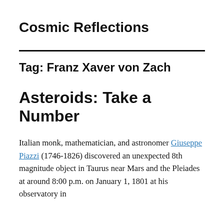Cosmic Reflections
Tag: Franz Xaver von Zach
Asteroids: Take a Number
Italian monk, mathematician, and astronomer Giuseppe Piazzi (1746-1826) discovered an unexpected 8th magnitude object in Taurus near Mars and the Pleiades at around 8:00 p.m. on January 1, 1801 at his observatory in